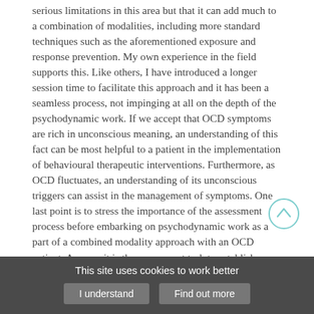serious limitations in this area but that it can add much to a combination of modalities, including more standard techniques such as the aforementioned exposure and response prevention. My own experience in the field supports this. Like others, I have introduced a longer session time to facilitate this approach and it has been a seamless process, not impinging at all on the depth of the psychodynamic work. If we accept that OCD symptoms are rich in unconscious meaning, an understanding of this fact can be most helpful to a patient in the implementation of behavioural therapeutic interventions. Furthermore, as OCD fluctuates, an understanding of its unconscious triggers can assist in the management of symptoms. One last point is to stress the importance of the assessment process before embarking on psychodynamic work as a part of a combined modality approach with an OCD patient. As ever, it is the assessment task to establish whether a working alliance can be established with the particular patient in the light of what might be cripplingly severe symptoms? After all, what use might a florid interpretation into unconscious processes be to a patient whose only thought is that they might be about to crash our table lamp into our skull?
Gordon's own experience is free from exposure to
[Figure (other): Circular scroll-to-top button with upward arrow, teal/cyan outline]
This site uses cookies to work better | I understand | Find out more